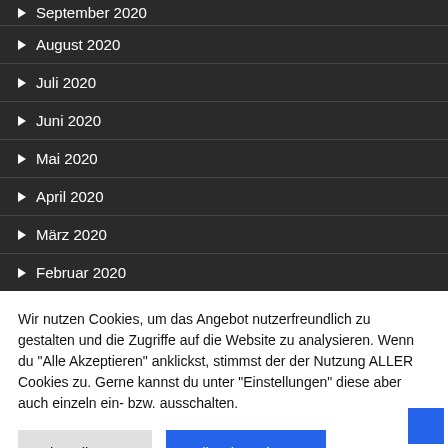September 2020
August 2020
Juli 2020
Juni 2020
Mai 2020
April 2020
März 2020
Februar 2020
Wir nutzen Cookies, um das Angebot nutzerfreundlich zu gestalten und die Zugriffe auf die Website zu analysieren. Wenn du "Alle Akzeptieren" anklickst, stimmst der der Nutzung ALLER Cookies zu. Gerne kannst du unter "Einstellungen" diese aber auch einzeln ein- bzw. ausschalten.
Einstellungen
Alle Akzeptieren